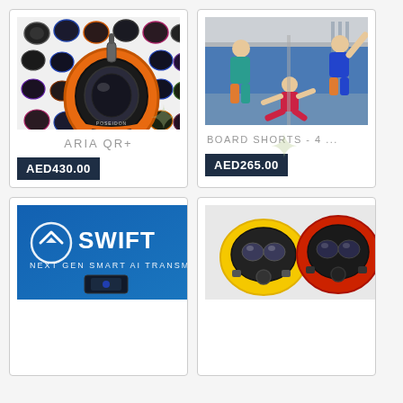[Figure (photo): Snorkeling/diving full-face masks in various colors including orange, black, blue, pink. Main mask shown is orange and black ARIA QR+.]
ARIA QR+
AED430.00
[Figure (photo): Three people in colourful rashguards in a sports/gym facility. Board shorts product photo.]
BOARD SHORTS - 4 ...
AED265.00
[Figure (photo): SWIFT Next Gen Smart AI Transmitter product on blue background with logo.]
[Figure (photo): Two diving masks side by side, one yellow and one red/orange.]